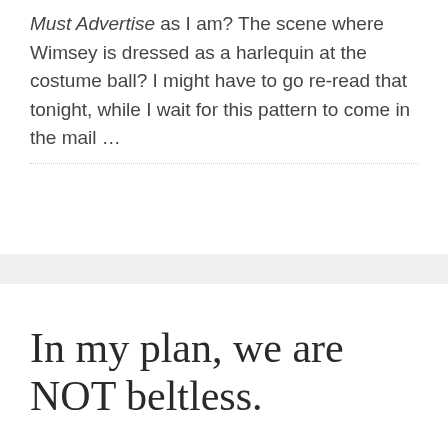Must Advertise as I am? The scene where Wimsey is dressed as a harlequin at the costume ball? I might have to go re-read that tonight, while I wait for this pattern to come in the mail …
In my plan, we are NOT beltless.
NOVEMBER 10, 2006
ERIN
LEAVE A COMMENT